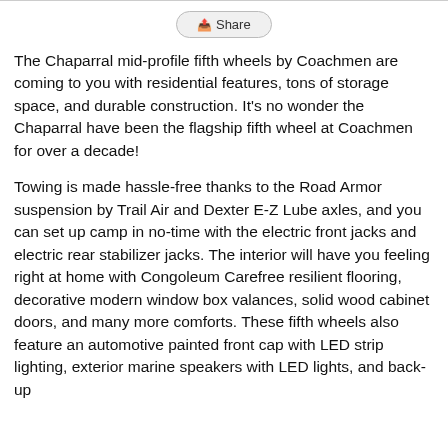[Figure (other): Top border bar]
[Figure (other): Share button with share icon]
The Chaparral mid-profile fifth wheels by Coachmen are coming to you with residential features, tons of storage space, and durable construction. It's no wonder the Chaparral have been the flagship fifth wheel at Coachmen for over a decade!
Towing is made hassle-free thanks to the Road Armor suspension by Trail Air and Dexter E-Z Lube axles, and you can set up camp in no-time with the electric front jacks and electric rear stabilizer jacks. The interior will have you feeling right at home with Congoleum Carefree resilient flooring, decorative modern window box valances, solid wood cabinet doors, and many more comforts. These fifth wheels also feature an automotive painted front cap with LED strip lighting, exterior marine speakers with LED lights, and back-up